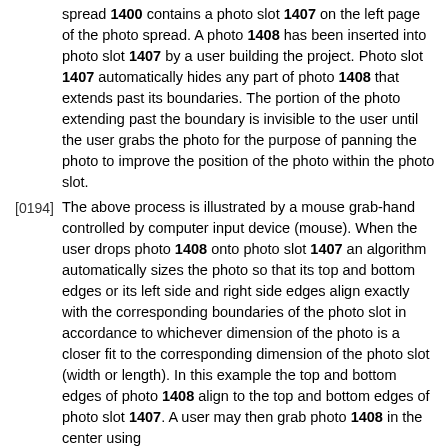spread 1400 contains a photo slot 1407 on the left page of the photo spread. A photo 1408 has been inserted into photo slot 1407 by a user building the project. Photo slot 1407 automatically hides any part of photo 1408 that extends past its boundaries. The portion of the photo extending past the boundary is invisible to the user until the user grabs the photo for the purpose of panning the photo to improve the position of the photo within the photo slot.
[0194] The above process is illustrated by a mouse grab-hand controlled by computer input device (mouse). When the user drops photo 1408 onto photo slot 1407 an algorithm automatically sizes the photo so that its top and bottom edges or its left side and right side edges align exactly with the corresponding boundaries of the photo slot in accordance to whichever dimension of the photo is a closer fit to the corresponding dimension of the photo slot (width or length). In this example the top and bottom edges of photo 1408 align to the top and bottom edges of photo slot 1407. A user may then grab photo 1408 in the center using